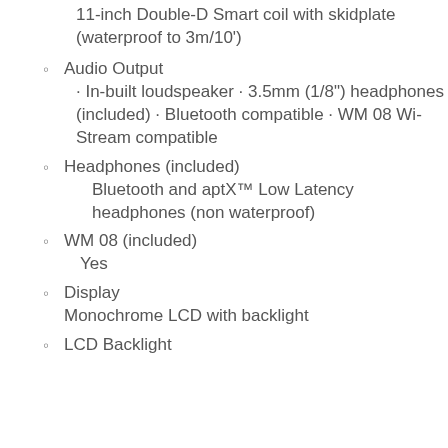11-inch Double-D Smart coil with skidplate (waterproof to 3m/10')
Audio Output
· In-built loudspeaker · 3.5mm (1/8") headphones (included) · Bluetooth compatible · WM 08 Wi-Stream compatible
Headphones (included)
Bluetooth and aptX™ Low Latency headphones (non waterproof)
WM 08 (included)
Yes
Display
Monochrome LCD with backlight
LCD Backlight